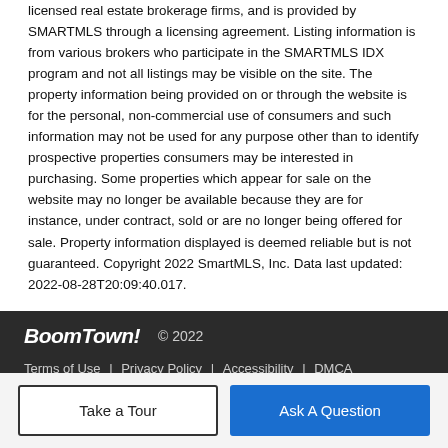licensed real estate brokerage firms, and is provided by SMARTMLS through a licensing agreement. Listing information is from various brokers who participate in the SMARTMLS IDX program and not all listings may be visible on the site. The property information being provided on or through the website is for the personal, non-commercial use of consumers and such information may not be used for any purpose other than to identify prospective properties consumers may be interested in purchasing. Some properties which appear for sale on the website may no longer be available because they are for instance, under contract, sold or are no longer being offered for sale. Property information displayed is deemed reliable but is not guaranteed. Copyright 2022 SmartMLS, Inc. Data last updated: 2022-08-28T20:09:40.017.
BoomTown! © 2022 | Terms of Use | Privacy Policy | Accessibility | DMCA | Listings Sitemap
Take a Tour  Ask A Question